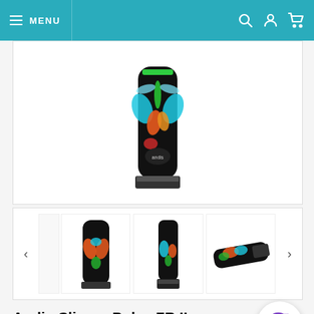MENU
[Figure (photo): Main product image of Andis Clipper Pulse ZR II Limited Edition Flora - black body with colorful butterfly/dragonfly design, viewed from the front top]
[Figure (photo): Thumbnail gallery showing three views of the Andis Clipper Pulse ZR II Limited Edition Flora: front view with floral/butterfly design, front view close-up, and angled side view]
Andis Clipper Pulse ZR II - Limited Edition Flora